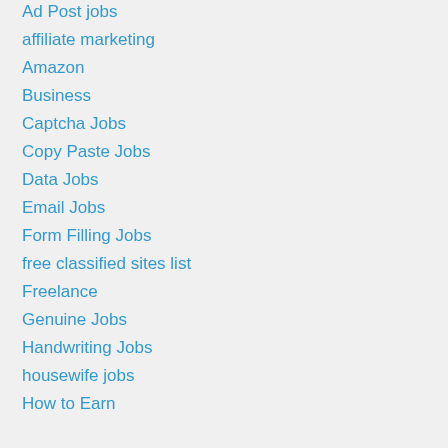Ad Post jobs
affiliate marketing
Amazon
Business
Captcha Jobs
Copy Paste Jobs
Data Jobs
Email Jobs
Form Filling Jobs
free classified sites list
Freelance
Genuine Jobs
Handwriting Jobs
housewife jobs
How to Earn